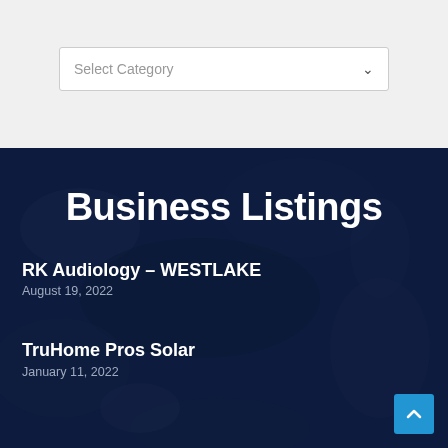[Figure (screenshot): A dropdown/select UI element with placeholder text 'Select Category' and a chevron arrow, on a light grey background]
Business Listings
RK Audiology – WESTLAKE
August 19, 2022
TruHome Pros Solar
January 11, 2022